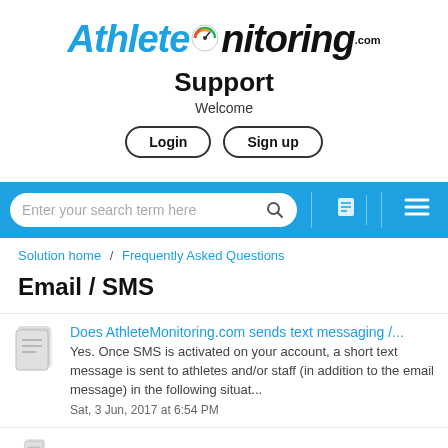[Figure (logo): AthleteMonitoring.com logo with blue italic 'Athlete' text, gauge icon, and black bold italic 'Monitoring' text]
Support
Welcome
Login  Sign up
Enter your search term here
Solution home   /   Frequently Asked Questions
Email / SMS
Does AthleteMonitoring.com sends text messaging /...
Yes. Once SMS is activated on your account, a short text message is sent to athletes and/or staff (in addition to the email message) in the following situat...
Sat, 3 Jun, 2017 at 6:54 PM